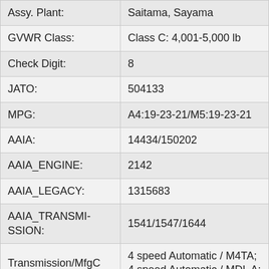| Field | Value |
| --- | --- |
| Assy. Plant: | Saitama, Sayama |
| GVWR Class: | Class C: 4,001-5,000 lb |
| Check Digit: | 8 |
| JATO: | 504133 |
| MPG: | A4:19-23-21/M5:19-23-21 |
| AAIA: | 14434/150202 |
| AAIA_ENGINE: | 2142 |
| AAIA_LEGACY: | 1315683 |
| AAIA_TRANSMISSION: | 1541/1547/1644 |
| Transmission/MfgCode: | 4 speed Automatic / M4TA; 4 speed Automatic / MDLA; 5 speed Manual / SBXM |
| Type: | Car |
| Engine Series Code: | B20B4 |